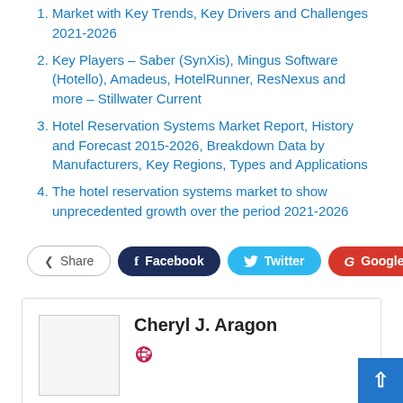Market with Key Trends, Key Drivers and Challenges 2021-2026
Key Players – Saber (SynXis), Mingus Software (Hotello), Amadeus, HotelRunner, ResNexus and more – Stillwater Current
Hotel Reservation Systems Market Report, History and Forecast 2015-2026, Breakdown Data by Manufacturers, Key Regions, Types and Applications
The hotel reservation systems market to show unprecedented growth over the period 2021-2026
Share | Facebook | Twitter | Google+ | +
Cheryl J. Aragon